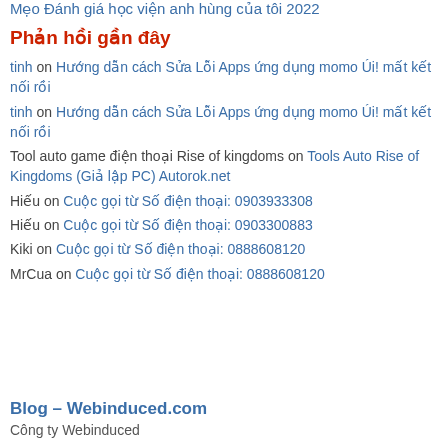Mẹo Đánh giá học viện anh hùng của tôi 2022
Phản hồi gần đây
tinh on Hướng dẫn cách Sửa Lỗi Apps ứng dụng momo Úi! mất kết nối rồi
tinh on Hướng dẫn cách Sửa Lỗi Apps ứng dụng momo Úi! mất kết nối rồi
Tool auto game điện thoại Rise of kingdoms on Tools Auto Rise of Kingdoms (Giả lập PC) Autorok.net
Hiếu on Cuộc gọi từ Số điện thoại: 0903933308
Hiếu on Cuộc gọi từ Số điện thoại: 0903300883
Kiki on Cuộc gọi từ Số điện thoại: 0888608120
MrCua on Cuộc gọi từ Số điện thoại: 0888608120
Blog – Webinduced.com
Công ty Webinduced